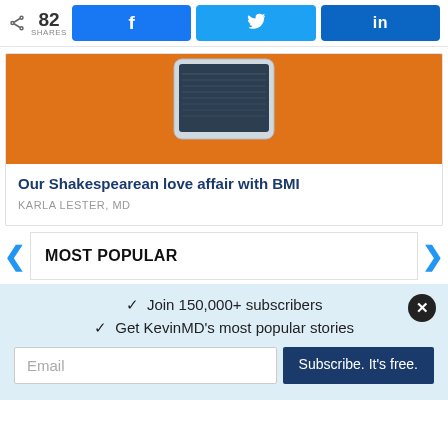82 SHARES  [Facebook]  [Twitter]  [LinkedIn]
[Figure (photo): Article thumbnail showing a dark tablet device on an orange background]
Our Shakespearean love affair with BMI
KARLA LESTER, MD
MOST POPULAR
✓  Join 150,000+ subscribers
✓  Get KevinMD's most popular stories
Email  Subscribe. It's free.